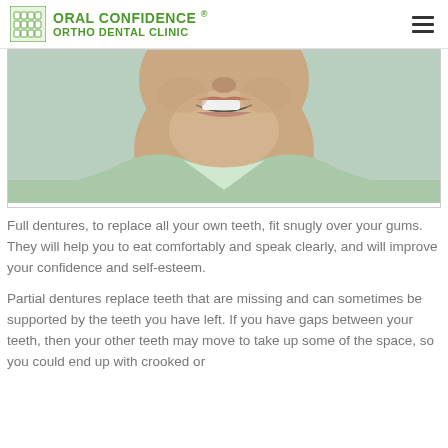ORAL CONFIDENCE ® ORTHO DENTAL CLINIC
[Figure (photo): Close-up photo of a smiling man in a light green shirt, showing his teeth and lower face/neck area.]
Full dentures, to replace all your own teeth, fit snugly over your gums. They will help you to eat comfortably and speak clearly, and will improve your confidence and self-esteem.
Partial dentures replace teeth that are missing and can sometimes be supported by the teeth you have left. If you have gaps between your teeth, then your other teeth may move to take up some of the space, so you could end up with crooked or